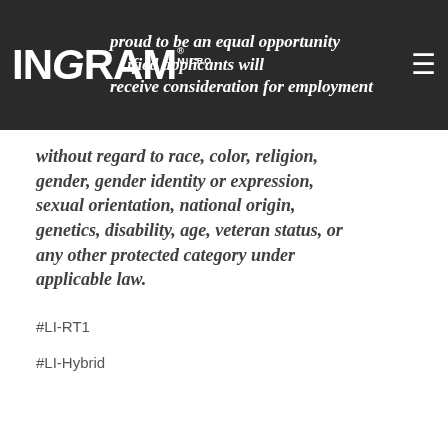[Figure (logo): Ingram Micro logo — white text on dark grey header bar]
proud to be an equal opportunity employer. All qualified applicants will receive consideration for employment without regard to race, color, religion, gender, gender identity or expression, sexual orientation, national origin, genetics, disability, age, veteran status, or any other protected category under applicable law.
#LI-RT1
#LI-Hybrid